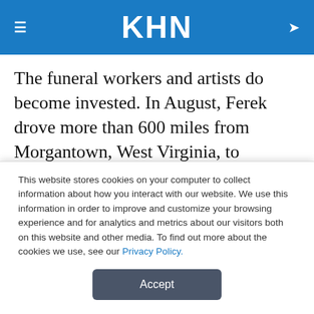KHN
The funeral workers and artists do become invested. In August, Ferek drove more than 600 miles from Morgantown, West Virginia, to Belleville, Illinois, to deliver five custom caskets himself ahead of a funeral for five children who died in an apartment fire. Each casket featured the child's name and a photograph of them
This website stores cookies on your computer to collect information about how you interact with our website. We use this information in order to improve and customize your browsing experience and for analytics and metrics about our visitors both on this website and other media. To find out more about the cookies we use, see our Privacy Policy.
Accept